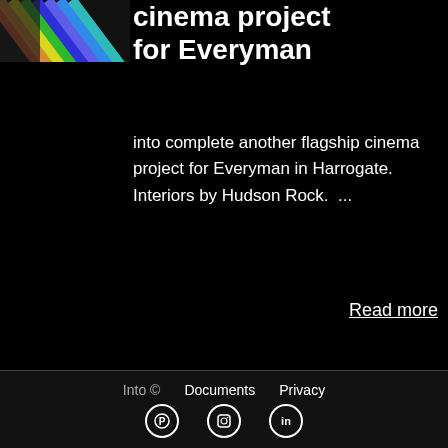[Figure (illustration): Thumbnail image showing colorful diagonal lines (rainbow stripes) against a dark background]
cinema project for Everyman
into complete another flagship cinema project for Everyman in Harrogate. Interiors by Hudson Rock.  ...
Read more
Into ©   Documents   Privacy